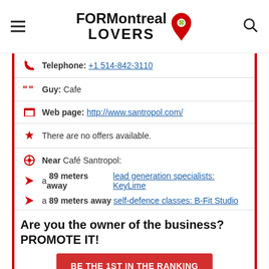FORMontreal LOVERS
Telephone: +1 514-842-3110
Guy: Cafe
Web page: http://www.santropol.com/
There are no offers available.
Near Café Santropol:
a 89 meters away lead generation specialists: KeyLime
a 89 meters away self-defence classes: B-Fit Studio
Are you the owner of the business? PROMOTE IT!
BE THE 1ST IN THE RANKING